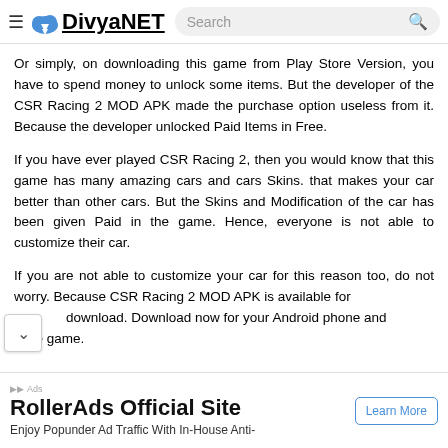DivyaNET
Or simply, on downloading this game from Play Store Version, you have to spend money to unlock some items. But the developer of the CSR Racing 2 MOD APK made the purchase option useless from it. Because the developer unlocked Paid Items in Free.
If you have ever played CSR Racing 2, then you would know that this game has many amazing cars and cars Skins. that makes your car better than other cars. But the Skins and Modification of the car has been given Paid in the game. Hence, everyone is not able to customize their car.
If you are not able to customize your car for this reason too, do not worry. Because CSR Racing 2 MOD APK is available for download. Download now for your Android phone and the game.
[Figure (screenshot): Advertisement banner for RollerAds Official Site with Learn More button]